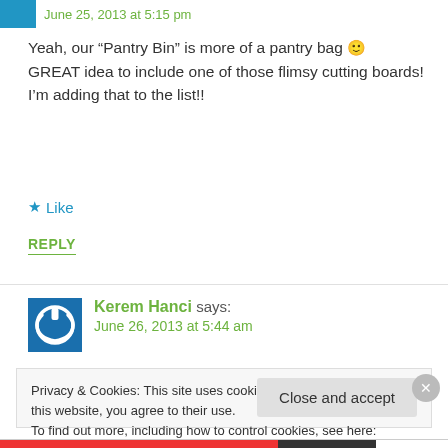June 25, 2013 at 5:15 pm
Yeah, our “Pantry Bin” is more of a pantry bag 🙂 GREAT idea to include one of those flimsy cutting boards! I’m adding that to the list!!
★ Like
REPLY
Kerem Hanci says: June 26, 2013 at 5:44 am
Privacy & Cookies: This site uses cookies. By continuing to use this website, you agree to their use.
To find out more, including how to control cookies, see here: Cookie Policy